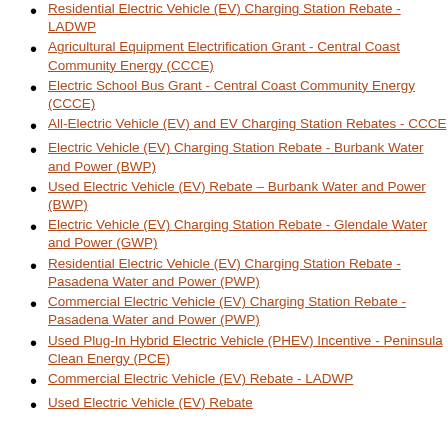Residential Electric Vehicle (EV) Charging Station Rebate - LADWP
Agricultural Equipment Electrification Grant - Central Coast Community Energy (CCCE)
Electric School Bus Grant - Central Coast Community Energy (CCCE)
All-Electric Vehicle (EV) and EV Charging Station Rebates - CCCE
Electric Vehicle (EV) Charging Station Rebate - Burbank Water and Power (BWP)
Used Electric Vehicle (EV) Rebate – Burbank Water and Power (BWP)
Electric Vehicle (EV) Charging Station Rebate - Glendale Water and Power (GWP)
Residential Electric Vehicle (EV) Charging Station Rebate - Pasadena Water and Power (PWP)
Commercial Electric Vehicle (EV) Charging Station Rebate - Pasadena Water and Power (PWP)
Used Plug-In Hybrid Electric Vehicle (PHEV) Incentive - Peninsula Clean Energy (PCE)
Commercial Electric Vehicle (EV) Rebate - LADWP
Used Electric Vehicle (EV) Rebate